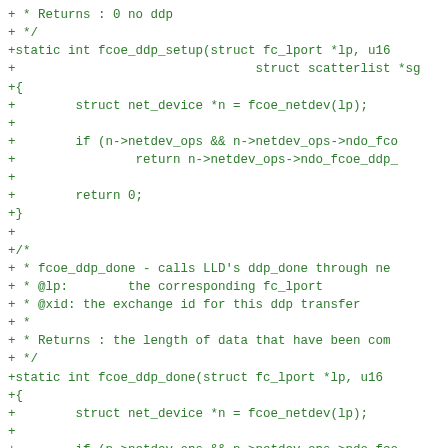Code diff showing fcoe_ddp_setup and fcoe_ddp_done static functions with net_device operations